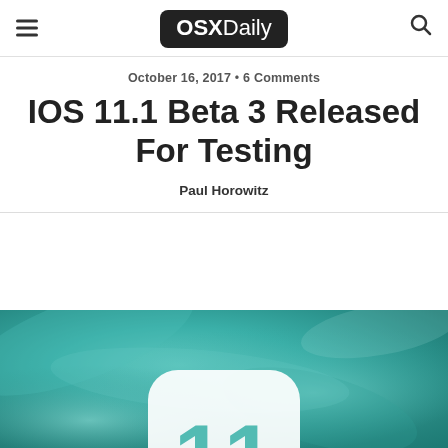OSXDaily
October 16, 2017 • 6 Comments
IOS 11.1 Beta 3 Released For Testing
Paul Horowitz
[Figure (photo): iOS 11 logo on a teal/aqua textured background showing the iOS 11 number icon]